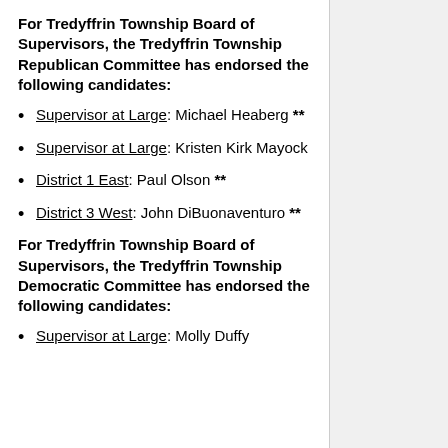For Tredyffrin Township Board of Supervisors, the Tredyffrin Township Republican Committee has endorsed the following candidates:
Supervisor at Large: Michael Heaberg **
Supervisor at Large: Kristen Kirk Mayock
District 1 East: Paul Olson **
District 3 West: John DiBuonaventuro **
For Tredyffrin Township Board of Supervisors, the Tredyffrin Township Democratic Committee has endorsed the following candidates:
Supervisor at Large: Molly Duffy